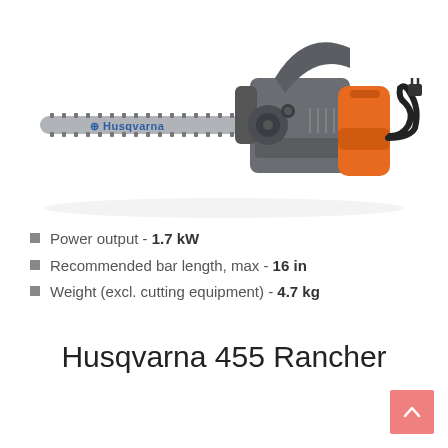[Figure (photo): Husqvarna electric chainsaw with grey and orange body, long guide bar labeled 'Husqvarna', and black power cord coiled on the right side, shown on a white background with a slight reflection.]
Power output - 1.7 kW
Recommended bar length, max - 16 in
Weight (excl. cutting equipment) - 4.7 kg
Husqvarna 455 Rancher